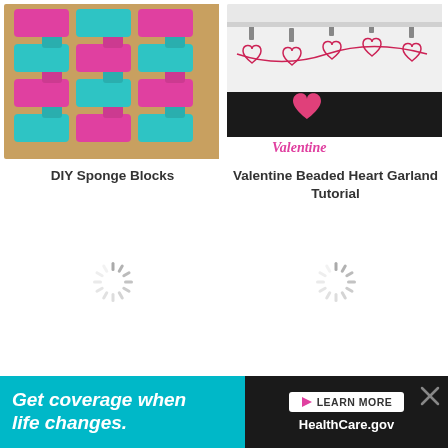[Figure (photo): DIY Sponge Blocks - stacked blue and pink foam/sponge blocks in a LEGO-like pattern]
DIY Sponge Blocks
[Figure (photo): Valentine Beaded Heart Garland Tutorial - red wire heart garland hanging on a white surface with Valentine text below]
Valentine Beaded Heart Garland Tutorial
[Figure (other): Loading spinner (animated loading icon)]
[Figure (other): Loading spinner (animated loading icon)]
[Figure (screenshot): Advertisement banner: Get coverage when life changes. LEARN MORE HealthCare.gov]